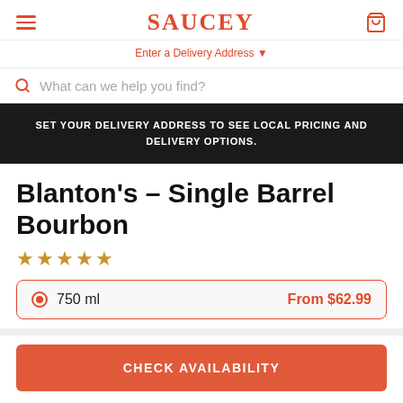SAUCEY
Enter a Delivery Address
What can we help you find?
SET YOUR DELIVERY ADDRESS TO SEE LOCAL PRICING AND DELIVERY OPTIONS.
Blanton's – Single Barrel Bourbon
★★★★★
750 ml   From $62.99
CHECK AVAILABILITY